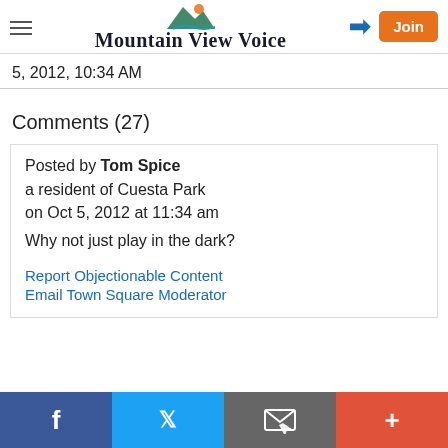Mountain View Voice
5, 2012, 10:34 AM
Comments (27)
Posted by Tom Spice
a resident of Cuesta Park
on Oct 5, 2012 at 11:34 am
Why not just play in the dark?
Report Objectionable Content
Email Town Square Moderator
f  Twitter  Email  +